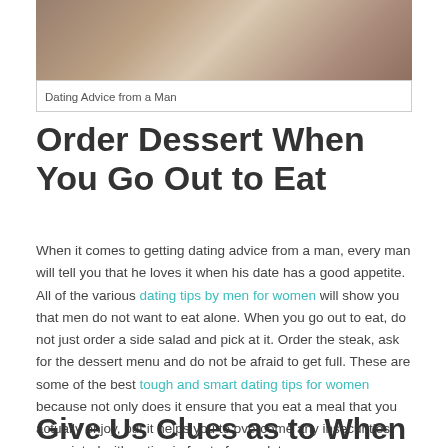[Figure (photo): Photo of a restaurant table setting with plates and glassware, partial view]
Dating Advice from a Man
Order Dessert When You Go Out to Eat
When it comes to getting dating advice from a man, every man will tell you that he loves it when his date has a good appetite. All of the various dating tips by men for women will show you that men do not want to eat alone. When you go out to eat, do not just order a side salad and pick at it. Order the steak, ask for the dessert menu and do not be afraid to get full. These are some of the best tough and smart dating tips for women because not only does it ensure that you eat a meal that you actually enjoy, but it helps you to overcome any insecurities associated with eating in front of your date.
Give Us Clues as to When to